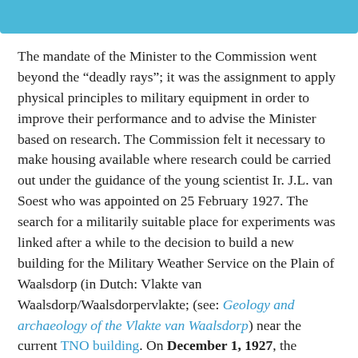[Figure (other): Decorative teal/blue header bar at top of page]
The mandate of the Minister to the Commission went beyond the “deadly rays”; it was the assignment to apply physical principles to military equipment in order to improve their performance and to advise the Minister based on research. The Commission felt it necessary to make housing available where research could be carried out under the guidance of the young scientist Ir. J.L. van Soest who was appointed on 25 February 1927. The search for a militarily suitable place for experiments was linked after a while to the decision to build a new building for the Military Weather Service on the Plain of Waalsdorp (in Dutch: Vlakte van Waalsdorp/Waalsdorpervlakte; (see: Geology and archaeology of the Vlakte van Waalsdorp) near the current TNO building. On December 1, 1927, the Meetgebouw (“Measurements Building”) started its operations with